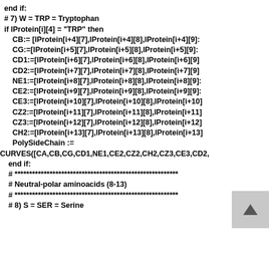end if:
# 7) W = TRP = Tryptophan
if lProtein[i][4] = "TRP" then
    CB:= [lProtein[i+4][7],lProtein[i+4][8],lProtein[i+4][9]]:
    CG:=[lProtein[i+5][7],lProtein[i+5][8],lProtein[i+5][9]]:
    CD1:=[lProtein[i+6][7],lProtein[i+6][8],lProtein[i+6][9]]
    CD2:=[lProtein[i+7][7],lProtein[i+7][8],lProtein[i+7][9]]
    NE1:=[lProtein[i+8][7],lProtein[i+8][8],lProtein[i+8][9]]:
    CE2:=[lProtein[i+9][7],lProtein[i+9][8],lProtein[i+9][9]]:
    CE3:=[lProtein[i+10][7],lProtein[i+10][8],lProtein[i+10]
    CZ2:=[lProtein[i+11][7],lProtein[i+11][8],lProtein[i+11]
    CZ3:=[lProtein[i+12][7],lProtein[i+12][8],lProtein[i+12]
    CH2:=[lProtein[i+13][7],lProtein[i+13][8],lProtein[i+13]
    PolySideChain :=
CURVES([CA,CB,CG,CD1,NE1,CE2,CZ2,CH2,CZ3,CE3,CD2,
    end if:
    # ********************************************************
    # Neutral-polar aminoacids (8-13)
    # ********************************************************
    # 8) S = SER = Serine